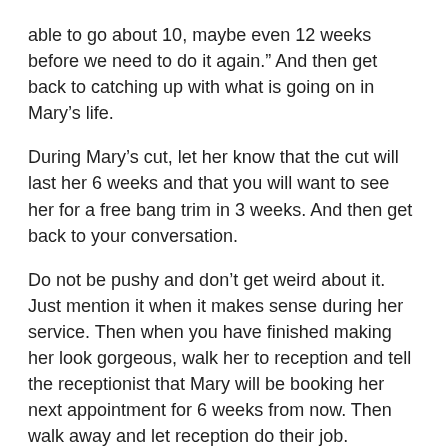able to go about 10, maybe even 12 weeks before we need to do it again.” And then get back to catching up with what is going on in Mary’s life.
During Mary’s cut, let her know that the cut will last her 6 weeks and that you will want to see her for a free bang trim in 3 weeks. And then get back to your conversation.
Do not be pushy and don’t get weird about it. Just mention it when it makes sense during her service. Then when you have finished making her look gorgeous, walk her to reception and tell the receptionist that Mary will be booking her next appointment for 6 weeks from now. Then walk away and let reception do their job.
Now here’s the catch: Mary probably won’t book in. But you are doing this with every single client and a few of them will. And all it takes is a few people pre-booking to make this snowball very quickly. Mary will likely find it a